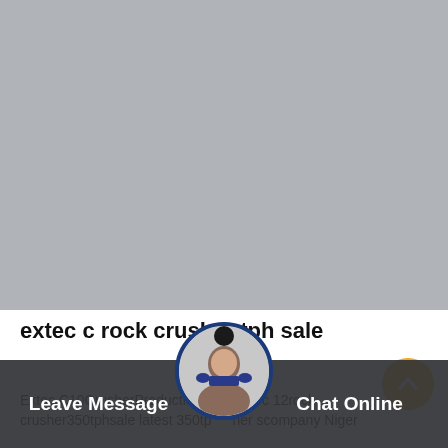[Figure (photo): Large grey placeholder image area]
extec c rock crusher tph sale
Extec C10CrusherProduction extec c 12rock crusher350tphsale latest 350tpcher scompany Niger
Leave Message
Chat Online